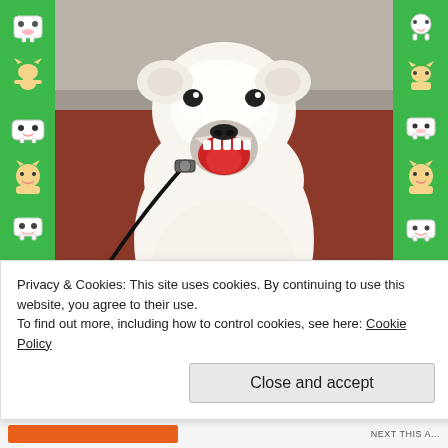[Figure (photo): White fluffy dog (Samoyed or American Eskimo) with mouth open, wearing a black leash/harness, sitting on a dark red/brown carpet floor, photographed from slightly above.]
Privacy & Cookies: This site uses cookies. By continuing to use this website, you agree to their use.
To find out more, including how to control cookies, see here: Cookie Policy
Close and accept